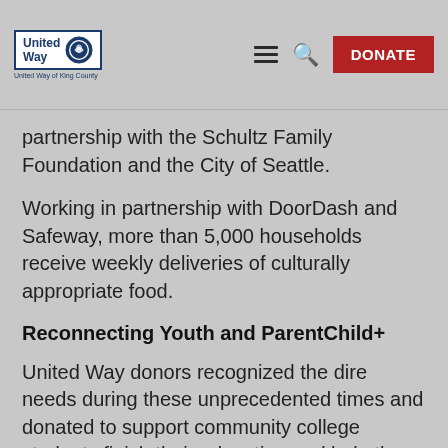United Way — United Way of King County | DONATE
partnership with the Schultz Family Foundation and the City of Seattle.
Working in partnership with DoorDash and Safeway, more than 5,000 households receive weekly deliveries of culturally appropriate food.
Reconnecting Youth and ParentChild+
United Way donors recognized the dire needs during these unprecedented times and donated to support community college students finish their education and help them break the cycle of poverty.
Additionally, 206 unsheltered individuals were